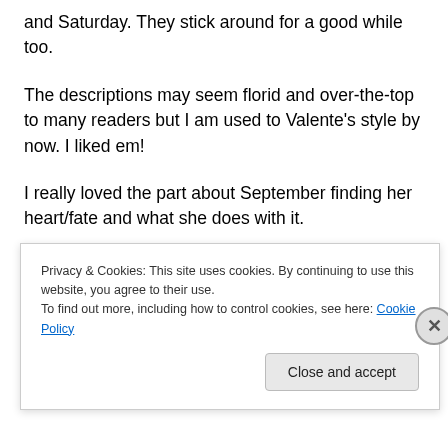and Saturday. They stick around for a good while too.
The descriptions may seem florid and over-the-top to many readers but I am used to Valente's style by now. I liked em!
I really loved the part about September finding her heart/fate and what she does with it.
September's meeting with the shell with a whole
Privacy & Cookies: This site uses cookies. By continuing to use this website, you agree to their use.
To find out more, including how to control cookies, see here: Cookie Policy
Close and accept